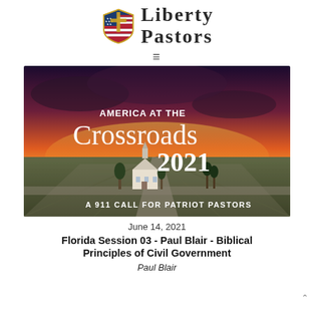[Figure (logo): Liberty Pastors logo with a shield featuring an American flag and cross, beside bold serif text reading LIBERTY PASTORS]
[Figure (illustration): Promotional banner image for 'America at the Crossroads 2021 - A 911 Call for Patriot Pastors' showing aerial view of a rural church at a crossroads under a dramatic sunset sky with bold white text overlay]
June 14, 2021
Florida Session 03 - Paul Blair - Biblical Principles of Civil Government
Paul Blair